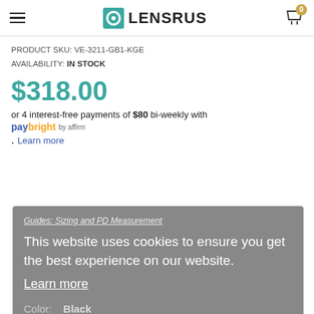LENSRUS
PRODUCT SKU: VE-3211-GB1-KGE
AVAILABILITY: IN STOCK
$318.00
or 4 interest-free payments of $80 bi-weekly with paybright by affirm
. Learn more
Guides: Sizing and PD Measurement
This website uses cookies to ensure you get the best experience on our website.
Learn more
Got it!
Color:  Black
Size:  (55-17-145)
(55-17-145)